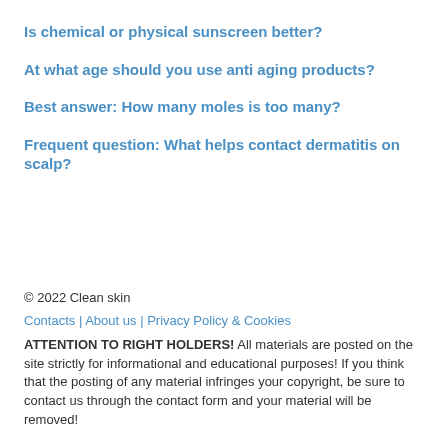Is chemical or physical sunscreen better?
At what age should you use anti aging products?
Best answer: How many moles is too many?
Frequent question: What helps contact dermatitis on scalp?
© 2022 Clean skin
Contacts | About us | Privacy Policy & Cookies
ATTENTION TO RIGHT HOLDERS! All materials are posted on the site strictly for informational and educational purposes! If you think that the posting of any material infringes your copyright, be sure to contact us through the contact form and your material will be removed!